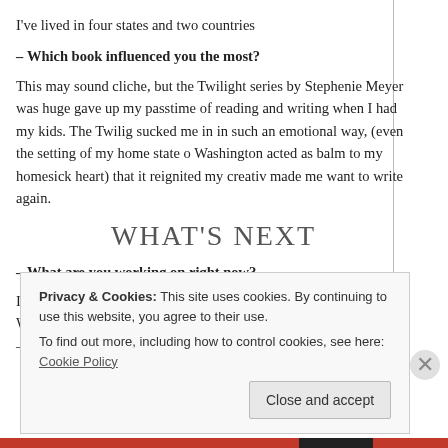I've lived in four states and two countries
– Which book influenced you the most?
This may sound cliche, but the Twilight series by Stephenie Meyer was huge gave up my passtime of reading and writing when I had my kids. The Twilig sucked me in in such an emotional way, (even the setting of my home state o Washington acted as balm to my homesick heart) that it reignited my creativ made me want to write again.
WHAT'S NEXT
– What are you working on right now?
I'm currently working on Lilith's Children, the second book in the Wild Wor and putting the polishing touches on a paranormal YA.
– What's your favourite writing advice?
Privacy & Cookies: This site uses cookies. By continuing to use this website, you agree to their use. To find out more, including how to control cookies, see here: Cookie Policy
Close and accept